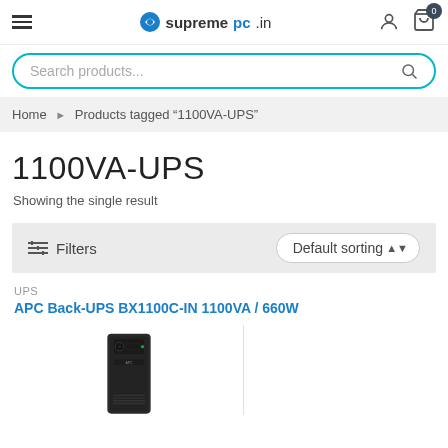supremepc.in
Search products...
Home > Products tagged "1100VA-UPS"
1100VA-UPS
Showing the single result
Filters   Default sorting
UPS
APC Back-UPS BX1100C-IN 1100VA / 660W
[Figure (photo): APC Back-UPS tower UPS unit, dark grey/black color]